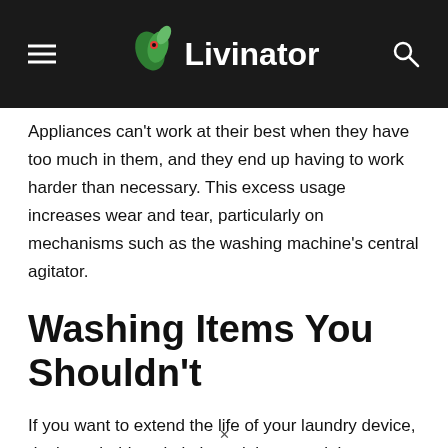Livinator
Appliances can't work at their best when they have too much in them, and they end up having to work harder than necessary. This excess usage increases wear and tear, particularly on mechanisms such as the washing machine's central agitator.
Washing Items You Shouldn't
If you want to extend the life of your laundry device, don't wash things in it that might cause it harm. Most of us think the washing instructions on items are there purely for the sake of these goods. However, the fact is handwashing...